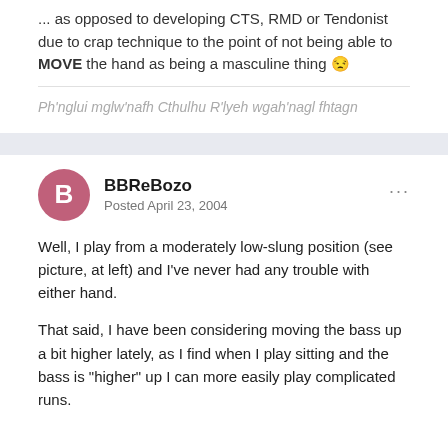... as opposed to developing CTS, RMD or Tendonist due to crap technique to the point of not being able to MOVE the hand as being a masculine thing 😒
Ph'nglui mglw'nafh Cthulhu R'lyeh wgah'nagl fhtagn
BBReBozo
Posted April 23, 2004
Well, I play from a moderately low-slung position (see picture, at left) and I've never had any trouble with either hand.
That said, I have been considering moving the bass up a bit higher lately, as I find when I play sitting and the bass is "higher" up I can more easily play complicated runs.